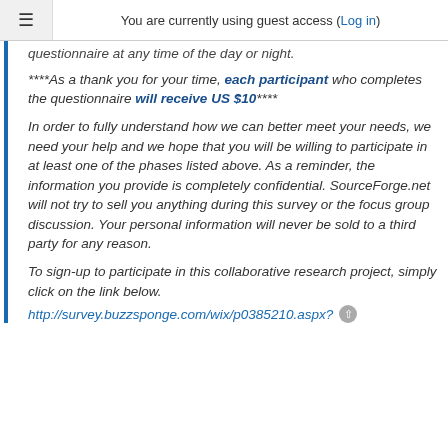You are currently using guest access (Log in)
questionnaire at any time of the day or night.
****As a thank you for your time, each participant who completes the questionnaire will receive US $10****
In order to fully understand how we can better meet your needs, we need your help and we hope that you will be willing to participate in at least one of the phases listed above. As a reminder, the information you provide is completely confidential. SourceForge.net will not try to sell you anything during this survey or the focus group discussion. Your personal information will never be sold to a third party for any reason.
To sign-up to participate in this collaborative research project, simply click on the link below.
http://survey.buzzsponge.com/wix/p0385210.aspx?